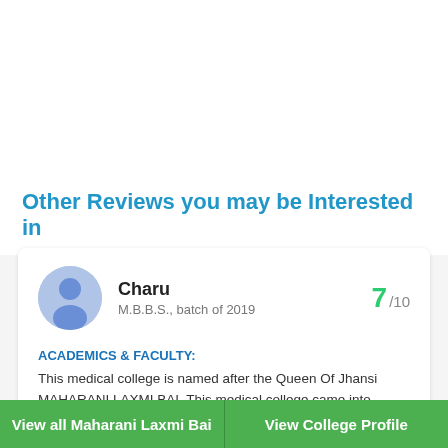Other Reviews you may be Interested in
Charu
M.B.B.S., batch of 2019
7 /10
ACADEMICS & FACULTY:
This medical college is named after the Queen Of Jhansi MAHARANI LAXMI BAI. This medical college came into existance in 1968
View all Maharani Laxmi Bai | View College Profile